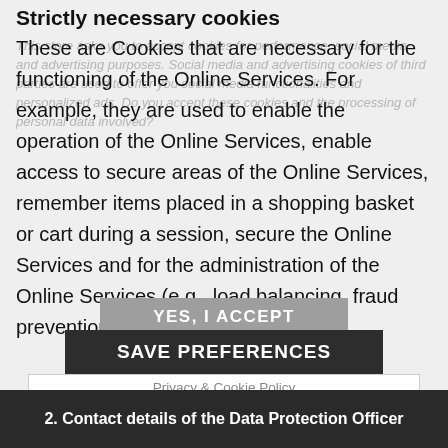Strictly necessary cookies
This store asks you to accept cookies for performance, social media and advertising purposes. Social media and advertising cookies of third parties are used to offer you social media functionalities and personalized ads. Do you accept these cookies and the processing of personal data involved?
These are Cookies that are necessary for the functioning of the Online Services. For example, they are used to enable the operation of the Online Services, enable access to secure areas of the Online Services, remember items placed in a shopping basket or cart during a session, secure the Online Services and for the administration of the Online Services (e.g., load balancing, fraud prevention). Without these
YES, I ACCEPT
SAVE PREFERENCES
Privacy & Cookie Policy
| Privacy & Cookie Policy |
| More information |
2. Contact details of the Data Protection Officer